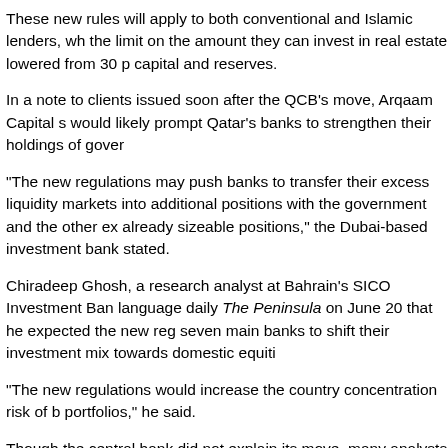These new rules will apply to both conventional and Islamic lenders, with the limit on the amount they can invest in real estate lowered from 30 p capital and reserves.
In a note to clients issued soon after the QCB's move, Arqaam Capital s would likely prompt Qatar's banks to strengthen their holdings of gover
"The new regulations may push banks to transfer their excess liquidity markets into additional positions with the government and the other ex already sizeable positions," the Dubai-based investment bank stated.
Chiradeep Ghosh, a research analyst at Bahrain's SICO Investment Ban language daily The Peninsula on June 20 that he expected the new reg seven main banks to shift their investment mix towards domestic equiti
"The new regulations would increase the country concentration risk of b portfolios," he said.
Though the central bank did not explain its move, many analysts and co connected to the extensive investment programme being undertaken b linked to Qatar's hosting of the 2022 FIFA World Cup but also to other l